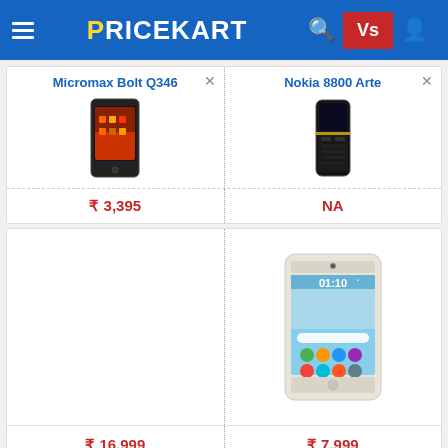PRICEKART
Micromax Bolt Q346
[Figure (photo): Micromax Bolt Q346 smartphone product image]
Nokia 8800 Arte
[Figure (photo): Nokia 8800 Arte phone product image]
₹ 3,395
NA
[Figure (photo): Oppo F1s smartphone product image showing home screen with time 01:10]
₹ 16,999
₹ 7,999
Motorola Moto M 64GB vs Oppo F1s